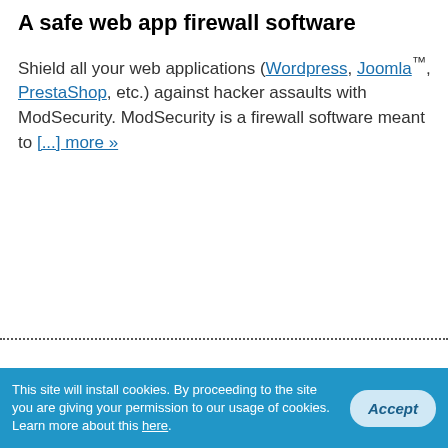A safe web app firewall software
Shield all your web applications (Wordpress, Joomla™, PrestaShop, etc.) against hacker assaults with ModSecurity. ModSecurity is a firewall software meant to [...] more »
[Figure (illustration): US map with American flag colors overlaid with server rack images, representing a US Data Center]
ℹ US Data Center
Steadfast, Chicago, IL
💬 Live Chat
This site will install cookies. By proceeding to the site you are giving your permission to our usage of cookies. Learn more about this here.